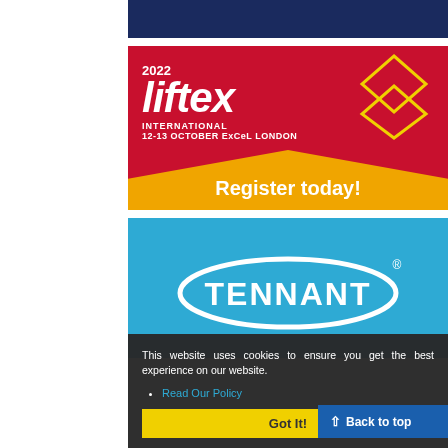[Figure (other): Dark navy horizontal bar at top]
[Figure (logo): 2022 Liftex International advertisement. Red background with yellow accents, diamond shape outline. Text: '2022 liftex INTERNATIONAL 12-13 OCTOBER ExCeL LONDON Register today!']
[Figure (logo): Tennant company logo on blue background. White oval outline with TENNANT text inside.]
This website uses cookies to ensure you get the best experience on our website.
Read Our Policy
Got It!
Back to top